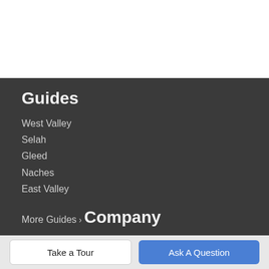Guides
West Valley
Selah
Gleed
Naches
East Valley
More Guides >
Company
Meet Our Agents
Resources
Take a Tour
Ask A Question